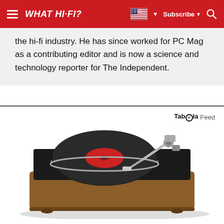WHAT HI-FI? | Subscribe | Search
the hi-fi industry. He has since worked for PC Mag as a contributing editor and is now a science and technology reporter for The Independent.
Taboola Feed
[Figure (photo): A vintage turntable/record player with a vinyl record on a wooden plinth, with a tonearm, photographed at an angle.]